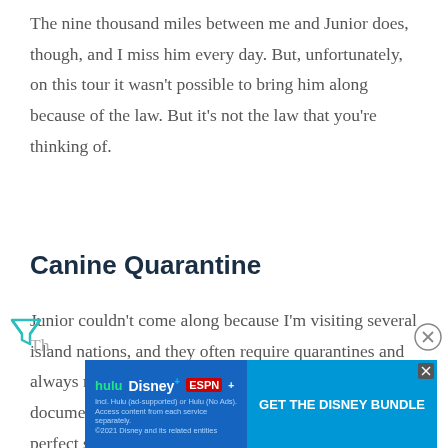The nine thousand miles between me and Junior does, though, and I miss him every day. But, unfortunately, on this tour it wasn't possible to bring him along because of the law. But it's not the law that you're thinking of.
Canine Quarantine
Junior couldn't come along because I'm visiting several island nations, and they often require quarantines and always require stringent medical checks and documentation for all canines immigrating. This makes perfect sense. It takes time to make sure that the dog has been immunized against any unfamiliar diseases on the island, and to make sure that the dog doesn't bring any new diseases to the island.
[Figure (other): Advertisement banner for Disney Bundle (Hulu, Disney+, ESPN+) with blue background and 'GET THE DISNEY BUNDLE' call to action button]